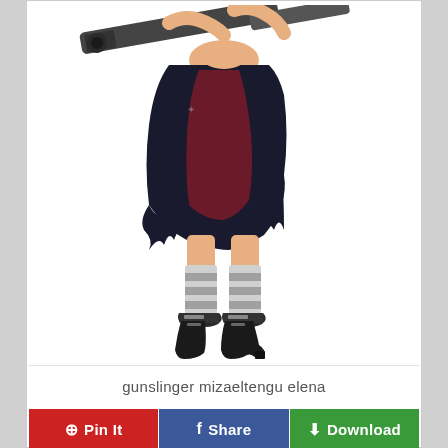[Figure (illustration): Anime-style illustration of a female character (gunslinger) wearing a torn dark dress, striped knee socks, dark boots with buckles, and holding a large gun across her shoulders. Character identified as mizaeltengu elena.]
gunslinger mizaeltengu elena
Pin It
Share
Download